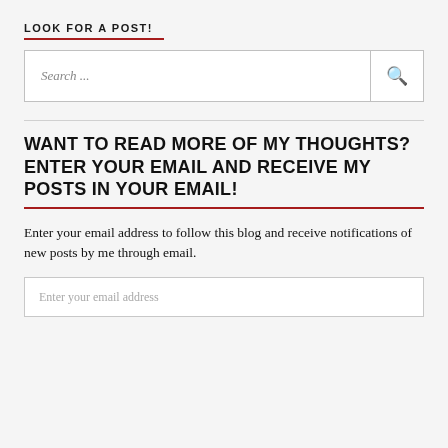LOOK FOR A POST!
[Figure (screenshot): Search input box with 'Search ...' placeholder and a magnifying glass icon button on the right]
WANT TO READ MORE OF MY THOUGHTS? ENTER YOUR EMAIL AND RECEIVE MY POSTS IN YOUR EMAIL!
Enter your email address to follow this blog and receive notifications of new posts by me through email.
[Figure (screenshot): Email address input field with placeholder text 'Enter your email address']